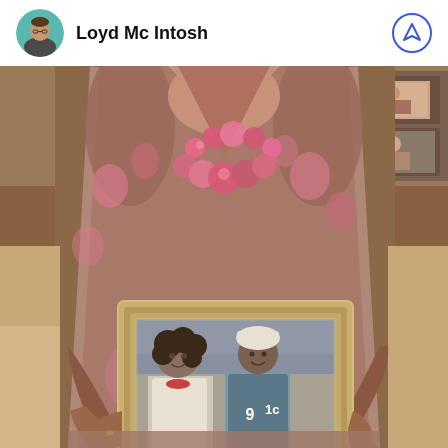Loyd Mc Intosh
[Figure (photo): A woman wearing a floral dress and large pink beaded necklace holds up a framed photograph. The framed photo shows two people — a woman and a young man wearing a sports jersey — posing together, appearing to be a mother and son.]